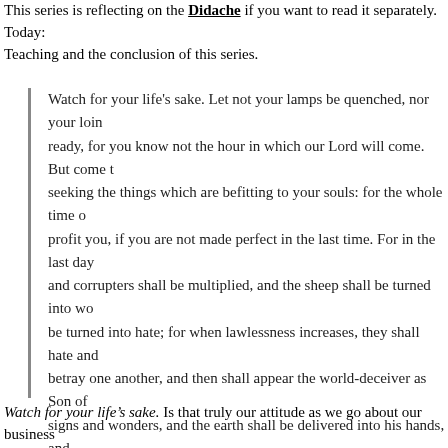This series is reflecting on the Didache if you want to read it separately. Today: Teaching and the conclusion of this series.
Watch for your life's sake. Let not your lamps be quenched, nor your loins ready, for you know not the hour in which our Lord will come. But come together seeking the things which are befitting to your souls: for the whole time of profit you, if you are not made perfect in the last time. For in the last days and corrupters shall be multiplied, and the sheep shall be turned into wo be turned into hate; for when lawlessness increases, they shall hate and betray one another, and then shall appear the world-deceiver as Son of signs and wonders, and the earth shall be delivered into his hands, and iniquitous things which have never yet come to pass since the beginning creation of men come into the fire of trial, and many shall be made to stu perish; but those who endure in their faith shall be saved from under the then shall appear the signs of the truth: first, the sign of an outspreading the sign of the sound of the trumpet. And third, the resurrection of the de but as it is said: "The Lord shall come and all His saints with Him." Then the Lord coming upon the clouds of heaven.
Watch for your life's sake. Is that truly our attitude as we go about our business fear and not in ways that cause us to withdraw from those around us. And not we see in some trying to calculate the moment or constantly looking for signs...